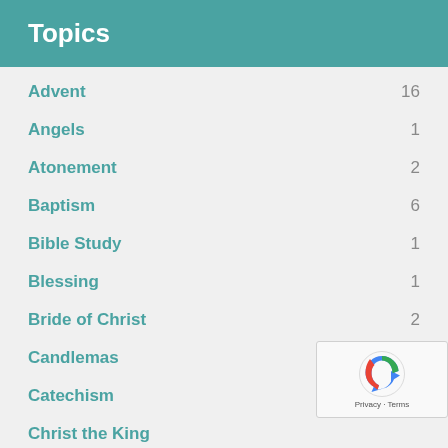Topics
Advent 16
Angels 1
Atonement 2
Baptism 6
Bible Study 1
Blessing 1
Bride of Christ 2
Candlemas 1
Catechism 3
Christ the King
Christmas
Church 11